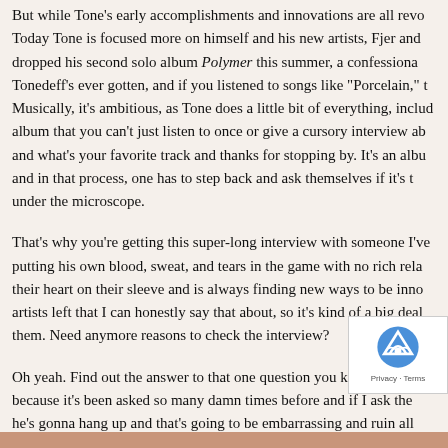But while Tone's early accomplishments and innovations are all revo... Today Tone is focused more on himself and his new artists, Fjer and... dropped his second solo album Polymer this summer, a confessiona... Tonedeff's ever gotten, and if you listened to songs like "Porcelain," t... Musically, it's ambitious, as Tone does a little bit of everything, includ... album that you can't just listen to once or give a cursory interview ab... and what's your favorite track and thanks for stopping by. It's an albu... and in that process, one has to step back and ask themselves if it's t... under the microscope.
That's why you're getting this super-long interview with someone I've... putting his own blood, sweat, and tears in the game with no rich rela... their heart on their sleeve and is always finding new ways to be inno... artists left that I can honestly say that about, so it's kind of a big deal... them. Need anymore reasons to check the interview?
Oh yeah. Find out the answer to that one question you know you wa... because it's been asked so many damn times before and if I ask the... he's gonna hang up and that's going to be embarrassing and ruin all... prepping for this and then how do I edit the interview to n... would just be a huge mess. I didn't even ask it, but still g... that good.